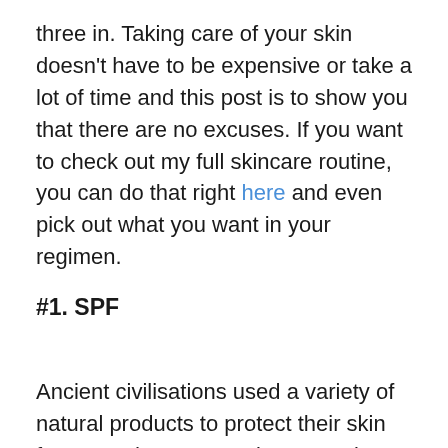three in. Taking care of your skin doesn't have to be expensive or take a lot of time and this post is to show you that there are no excuses. If you want to check out my full skincare routine, you can do that right here and even pick out what you want in your regimen.
#1. SPF
Ancient civilisations used a variety of natural products to protect their skin from sun damage; Ancient Egyptians used extracts of rice, jasmine, and lupine plants. Chemists invented the first sunscreen in 1930s, made with a mixture of cocoa butter and red veterinary petroleum and it has evolved over the years since.
Sunscreen protects your skin from UV rays and you